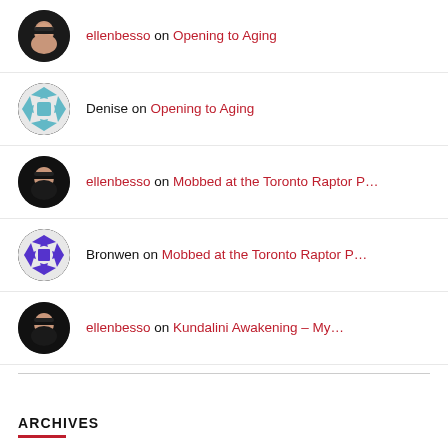ellenbesso on Opening to Aging
Denise on Opening to Aging
ellenbesso on Mobbed at the Toronto Raptor P…
Bronwen on Mobbed at the Toronto Raptor P…
ellenbesso on Kundalini Awakening – My…
ARCHIVES